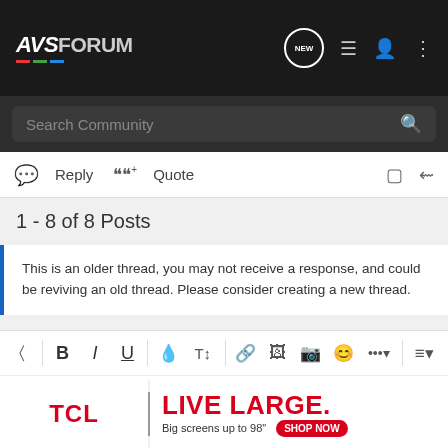AVSForum — Navigation bar with logo, NEW, list, user, and menu icons
Search Community
Reply   Quote
1 - 8 of 8 Posts
This is an older thread, you may not receive a response, and could be reviving an old thread. Please consider creating a new thread.
[Figure (screenshot): Forum post editor toolbar with formatting buttons: eraser, B, I, U, color, text size, link, image, camera, emoji, more, align, list, table, undo, redo, save, settings]
Write your reply...
[Figure (infographic): TCL advertisement banner: TCL | LIVE LARGE. Big screens up to 98" SHOP NOW]